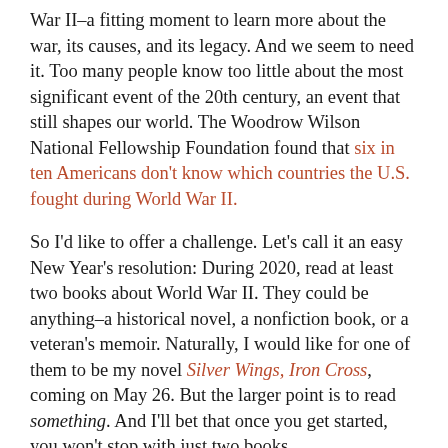War II–a fitting moment to learn more about the war, its causes, and its legacy. And we seem to need it. Too many people know too little about the most significant event of the 20th century, an event that still shapes our world. The Woodrow Wilson National Fellowship Foundation found that six in ten Americans don't know which countries the U.S. fought during World War II.
So I'd like to offer a challenge. Let's call it an easy New Year's resolution: During 2020, read at least two books about World War II. They could be anything–a historical novel, a nonfiction book, or a veteran's memoir. Naturally, I would like for one of them to be my novel Silver Wings, Iron Cross, coming on May 26. But the larger point is to read something. And I'll bet that once you get started, you won't stop with just two books.
My own reading will begin with a classic: The Winds of War, by Herman Wouk. I'll probably follow up with its sequel, War and Remembrance. If you join me in this #WWIIBookChallenge, please check in with me on social media. I'd love to hear what you're reading. Perhaps we'll exchange suggestions on what else to read.
We owe much to the Greatest Generation. And the best way